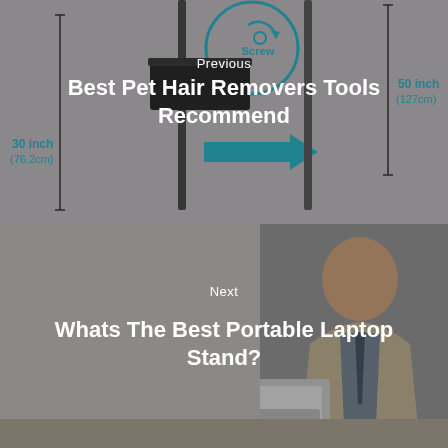[Figure (photo): Top half shows a pet hair remover tool / brush with measurement annotations: 30 inch (76.2cm) on the left, 50 inch (127cm) on the right, a circular screw mechanism detail, and a blue arrow pointing right. Background is gray.]
Previous
Best Pet Hair Removers Tools Recommend
[Figure (photo): Bottom half shows a man in a blazer working on a laptop computer, photographed from the side. Background is blurred office environment.]
Next
Whats The Best Portable Laptop Stand?